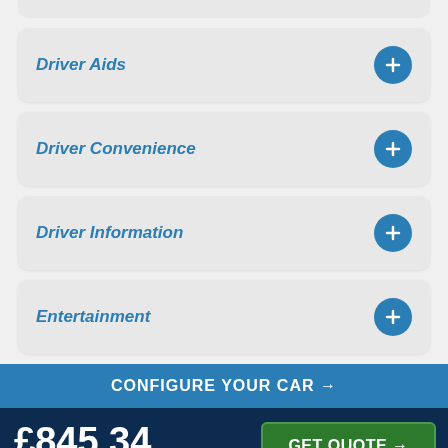Driver Aids
Driver Convenience
Driver Information
Entertainment
CONFIGURE YOUR CAR →
£845.34
Personal Car Leasing Per Month inc VAT
Initial rental: £7608.06 inc VAT
Admin fee: £0.00
Excess mileage charges may apply